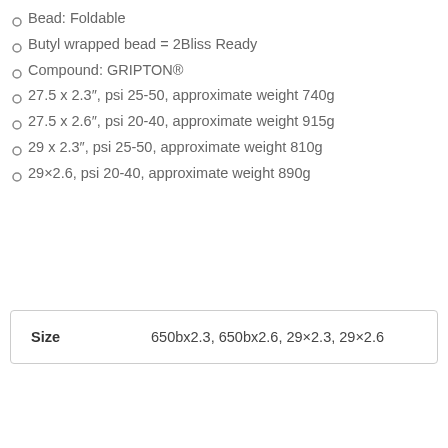Bead: Foldable
Butyl wrapped bead = 2Bliss Ready
Compound: GRIPTON®
27.5 x 2.3″, psi 25-50, approximate weight 740g
27.5 x 2.6″, psi 20-40, approximate weight 915g
29 x 2.3″, psi 25-50, approximate weight 810g
29×2.6, psi 20-40, approximate weight 890g
| Size |  |
| --- | --- |
| Size | 650bx2.3, 650bx2.6, 29×2.3, 29×2.6 |